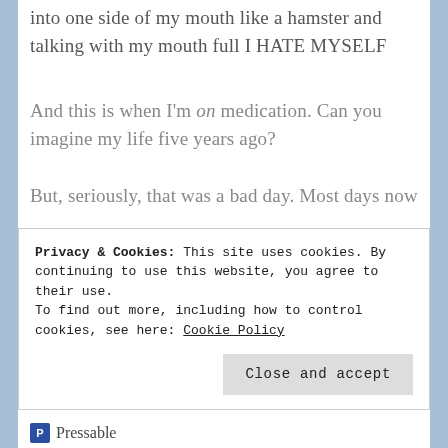into one side of my mouth like a hamster and talking with my mouth full I HATE MYSELF
And this is when I'm on medication. Can you imagine my life five years ago?
But, seriously, that was a bad day. Most days now
Privacy & Cookies: This site uses cookies. By continuing to use this website, you agree to their use.
To find out more, including how to control cookies, see here: Cookie Policy
Close and accept
Pressable